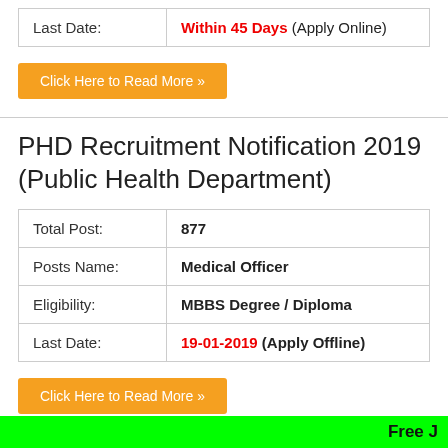| Last Date: | Within 45 Days (Apply Online) |
| --- | --- |
Click Here to Read More »
PHD Recruitment Notification 2019 (Public Health Department)
| Field | Value |
| --- | --- |
| Total Post: | 877 |
| Posts Name: | Medical Officer |
| Eligibility: | MBBS Degree / Diploma |
| Last Date: | 19-01-2019 (Apply Offline) |
Click Here to Read More »
VMMC Recruitment Notification 2018
Free J